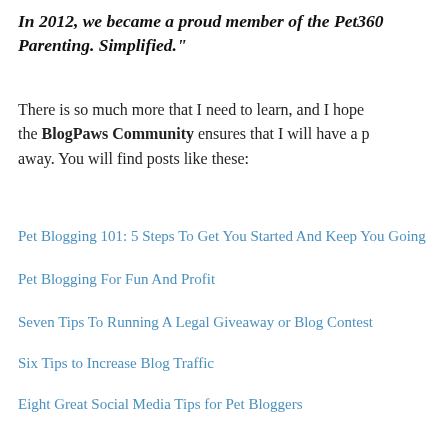In 2012, we became a proud member of the Pet360 Parenting. Simplified."
There is so much more that I need to learn, and I hope the BlogPaws Community ensures that I will have a place to turn away. You will find posts like these:
Pet Blogging 101: 5 Steps To Get You Started And Keep You Going
Pet Blogging For Fun And Profit
Seven Tips To Running A Legal Giveaway or Blog Contest
Six Tips to Increase Blog Traffic
Eight Great Social Media Tips for Pet Bloggers
Pet Blogging ‘Rules’ For Success
Professional Blogging for Dummies
Top 10 Tips: How to Get a Sponsor